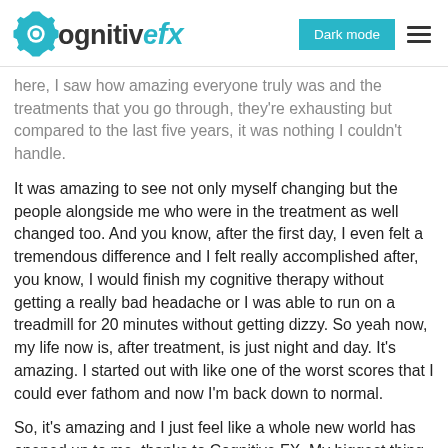CognitiveFX — Dark mode navigation header
here, I saw how amazing everyone truly was and the treatments that you go through, they're exhausting but compared to the last five years, it was nothing I couldn't handle.
It was amazing to see not only myself changing but the people alongside me who were in the treatment as well changed too. And you know, after the first day, I even felt a tremendous difference and I felt really accomplished after, you know, I would finish my cognitive therapy without getting a really bad headache or I was able to run on a treadmill for 20 minutes without getting dizzy. So yeah now, my life now is, after treatment, is just night and day. It's amazing. I started out with like one of the worst scores that I could ever fathom and now I'm back down to normal.
So, it's amazing and I just feel like a whole new world has opened up to me, thanks to Cognitive FX. My biggest thing I'm looking forward to is going back to college in the fall to